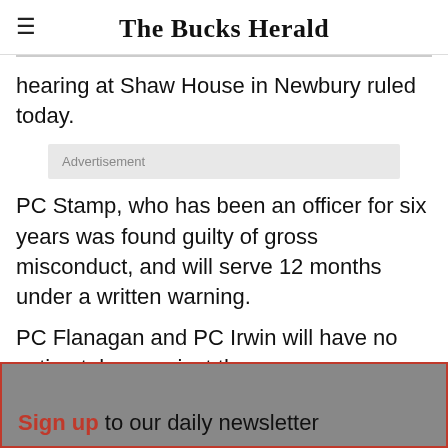The Bucks Herald
hearing at Shaw House in Newbury ruled today.
Advertisement
PC Stamp, who has been an officer for six years was found guilty of gross misconduct, and will serve 12 months under a written warning.
PC Flanagan and PC Irwin will have no action taken against them.
Sign up to our daily newsletter